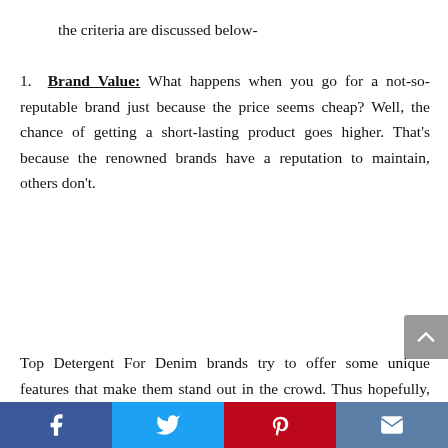the criteria are discussed below-
Brand Value: What happens when you go for a not-so-reputable brand just because the price seems cheap? Well, the chance of getting a short-lasting product goes higher. That's because the renowned brands have a reputation to maintain, others don't.
Top Detergent For Denim brands try to offer some unique features that make them stand out in the crowd. Thus hopefully, you'll find one ideal product or another in our list.
Facebook | Twitter | Pinterest | Email